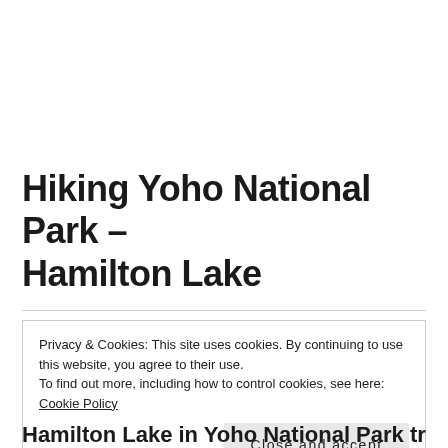Hiking Yoho National Park – Hamilton Lake
Privacy & Cookies: This site uses cookies. By continuing to use this website, you agree to their use.
To find out more, including how to control cookies, see here: Cookie Policy
Close and accept
Hamilton Lake in Yoho National Park traverses a